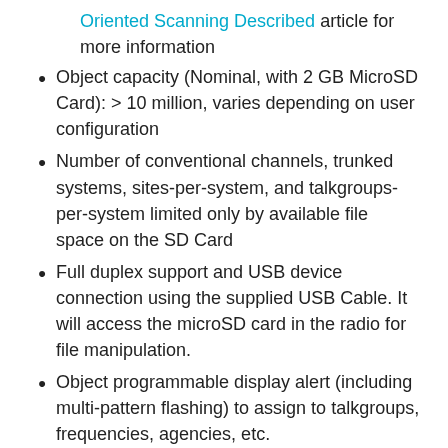Oriented Scanning Described article for more information
Object capacity (Nominal, with 2 GB MicroSD Card): > 10 million, varies depending on user configuration
Number of conventional channels, trunked systems, sites-per-system, and talkgroups-per-system limited only by available file space on the SD Card
Full duplex support and USB device connection using the supplied USB Cable. It will access the microSD card in the radio for file manipulation.
Object programmable display alert (including multi-pattern flashing) to assign to talkgroups, frequencies, agencies, etc.
Non need for a traditional keypad, radio uses media player style buttons to navigate to user programmed playlists.
100 Play Lists; create a scan list tailored to your favorite object settings from the Radioreference